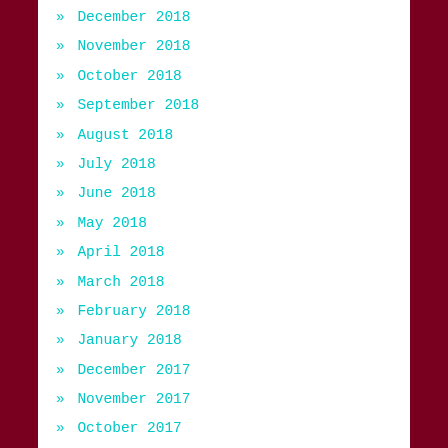» December 2018
» November 2018
» October 2018
» September 2018
» August 2018
» July 2018
» June 2018
» May 2018
» April 2018
» March 2018
» February 2018
» January 2018
» December 2017
» November 2017
» October 2017
» September 2017